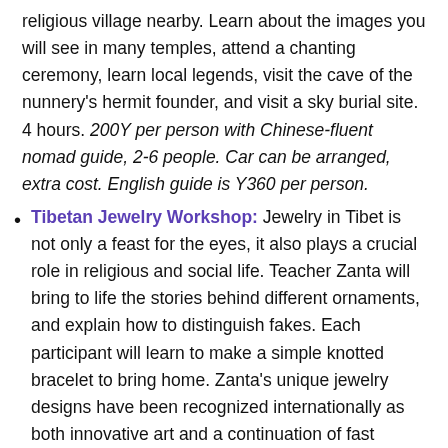religious village nearby. Learn about the images you will see in many temples, attend a chanting ceremony, learn local legends, visit the cave of the nunnery's hermit founder, and visit a sky burial site. 4 hours. 200Y per person with Chinese-fluent nomad guide, 2-6 people. Car can be arranged, extra cost. English guide is Y360 per person.
Tibetan Jewelry Workshop: Jewelry in Tibet is not only a feast for the eyes, it also plays a crucial role in religious and social life. Teacher Zanta will bring to life the stories behind different ornaments, and explain how to distinguish fakes. Each participant will learn to make a simple knotted bracelet to bring home. Zanta's unique jewelry designs have been recognized internationally as both innovative art and a continuation of fast disappearing folk culture. She's had a solo art gallery exhibition in Boston, and is a recipient of a Smithsonian Folklife